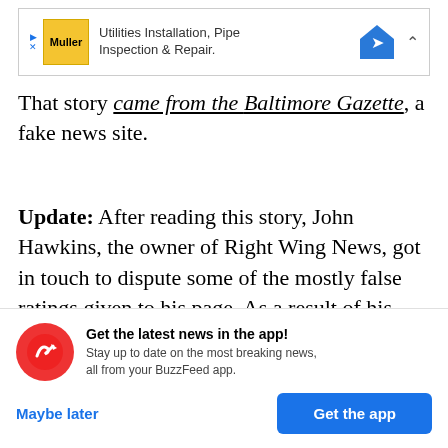[Figure (screenshot): Advertisement banner for Muller Utilities Installation, Pipe Inspection & Repair with logo and navigation icon]
That story came from the Baltimore Gazette, a fake news site.
Update: After reading this story, John Hawkins, the owner of Right Wing News, got in touch to dispute some of the mostly false ratings given to his page. As a result of his feedback, we altered four ratings, as detailed in a correction added to this story. Hawkins also published a blog post that outlines his
[Figure (screenshot): BuzzFeed app notification banner: Get the latest news in the app! Stay up to date on the most breaking news, all from your BuzzFeed app. With Maybe later and Get the app buttons.]